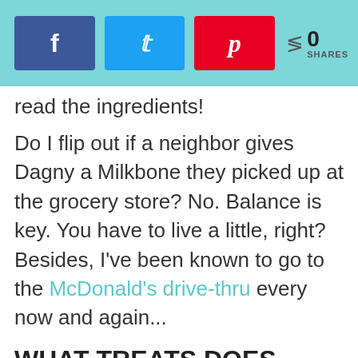[Figure (screenshot): Social share buttons bar: Facebook (blue), Twitter (light blue), Pinterest (red), and a share count showing 0 SHARES, on a teal background]
read the ingredients!
Do I flip out if a neighbor gives Dagny a Milkbone they picked up at the grocery store? No. Balance is key. You have to live a little, right? Besides, I've been known to go to the McDonald's drive-thru every now and again...
WHAT TREATS DOES YOUR DOG LOVE?
Disclosure: Most of the links found above